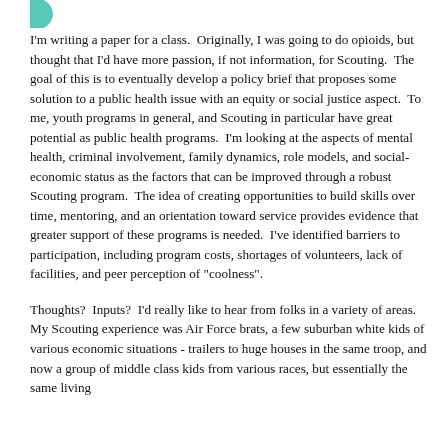[Figure (logo): Partial teal/green circular logo visible at top left corner]
I'm writing a paper for a class.  Originally, I was going to do opioids, but thought that I'd have more passion, if not information, for Scouting.  The goal of this is to eventually develop a policy brief that proposes some solution to a public health issue with an equity or social justice aspect.  To me, youth programs in general, and Scouting in particular have great potential as public health programs.  I'm looking at the aspects of mental health, criminal involvement, family dynamics, role models, and social-economic status as the factors that can be improved through a robust Scouting program.  The idea of creating opportunities to build skills over time, mentoring, and an orientation toward service provides evidence that greater support of these programs is needed.  I've identified barriers to participation, including program costs, shortages of volunteers, lack of facilities, and peer perception of "coolness".
Thoughts?  Inputs?  I'd really like to hear from folks in a variety of areas.  My Scouting experience was Air Force brats, a few suburban white kids of various economic situations - trailers to huge houses in the same troop, and now a group of middle class kids from various races, but essentially the same living